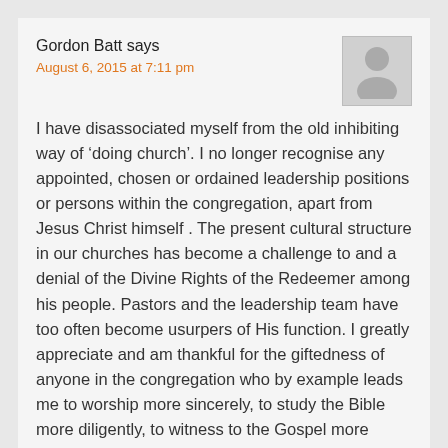Gordon Batt says
August 6, 2015 at 7:11 pm
I have disassociated myself from the old inhibiting way of ‘doing church’. I no longer recognise any appointed, chosen or ordained leadership positions or persons within the congregation, apart from Jesus Christ himself . The present cultural structure in our churches has become a challenge to and a denial of the Divine Rights of the Redeemer among his people. Pastors and the leadership team have too often become usurpers of His function. I greatly appreciate and am thankful for the giftedness of anyone in the congregation who by example leads me to worship more sincerely, to study the Bible more diligently, to witness to the Gospel more actively, and to share in fellowship more lovingly. These people are the real leaders…women and men, boys and girls, and all the wise and experienced older Christians in the congregation who are more concerned about following Jesus than they are